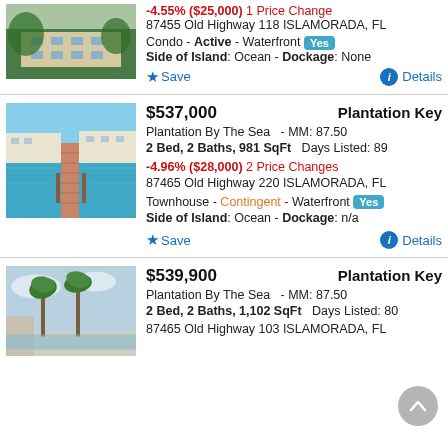[Figure (photo): Aerial or elevated view of a building with green trees, partial listing at top]
-4.55% ($25,000) 1 Price Change
87455 Old Highway 118 ISLAMORADA, FL
Condo - Active - Waterfront Yes
Side of Island: Ocean - Dockage: None
Save   Details
[Figure (photo): Waterfront dock extending over turquoise water with buildings in background]
$537,000   Plantation Key
Plantation By The Sea  - MM: 87.50
2 Bed, 2 Baths, 981 SqFt  Days Listed: 89
-4.96% ($28,000) 2 Price Changes
87465 Old Highway 220 ISLAMORADA, FL
Townhouse - Contingent - Waterfront Yes
Side of Island: Ocean - Dockage: n/a
Save   Details
[Figure (photo): Poolside or patio view with palm trees and blue sky]
$539,900   Plantation Key
Plantation By The Sea  - MM: 87.50
2 Bed, 2 Baths, 1,102 SqFt  Days Listed: 80
87465 Old Highway 103 ISLAMORADA, FL